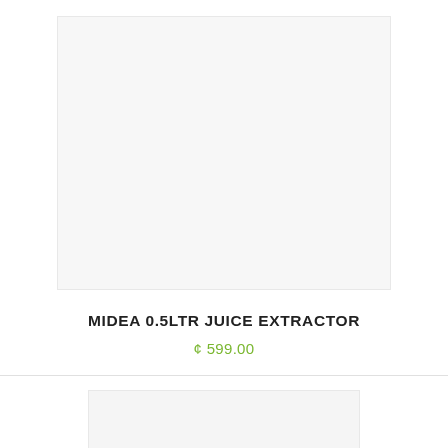[Figure (photo): Product image placeholder for Midea 0.5LTR Juice Extractor, light gray background]
MIDEA 0.5LTR JUICE EXTRACTOR
¢ 599.00
[Figure (photo): Second product image placeholder, light gray background]